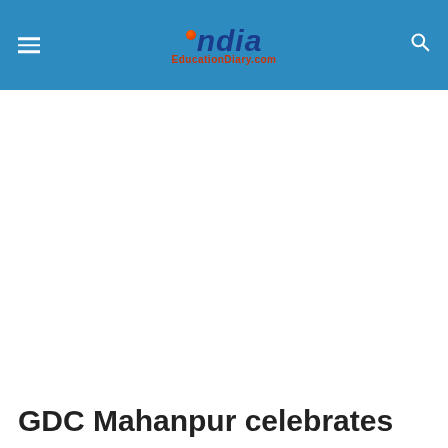India EducationDiary.com
GDC Mahanpur celebrates